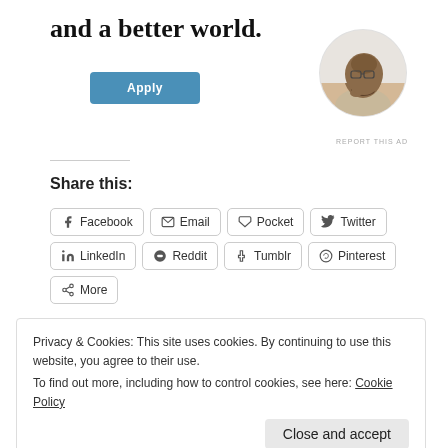and a better world.
[Figure (photo): Circular profile photo of a man with glasses thinking, resting hand on chin, seated at a desk]
REPORT THIS AD
Share this:
Facebook
Email
Pocket
Twitter
LinkedIn
Reddit
Tumblr
Pinterest
More
Privacy & Cookies: This site uses cookies. By continuing to use this website, you agree to their use.
To find out more, including how to control cookies, see here: Cookie Policy